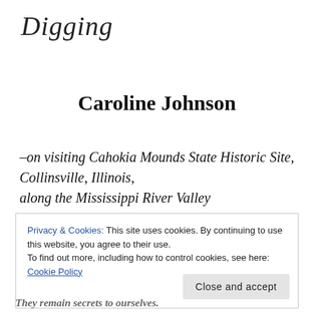Digging
Caroline Johnson
–on visiting Cahokia Mounds State Historic Site, Collinsville, Illinois, along the Mississippi River Valley
Privacy & Cookies: This site uses cookies. By continuing to use this website, you agree to their use. To find out more, including how to control cookies, see here: Cookie Policy
They remain secrets to ourselves.